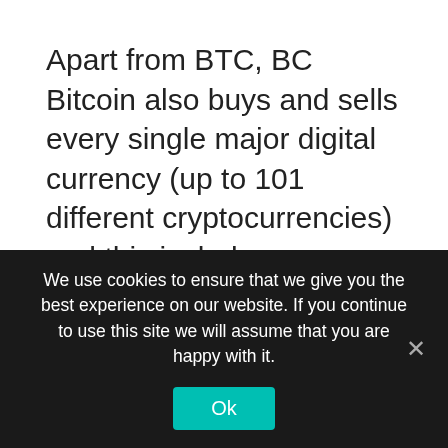Apart from BTC, BC Bitcoin also buys and sells every single major digital currency (up to 101 different cryptocurrencies) and this includes; Ethereum, Ripple, Litecoin, Bitcoin Cash and Bitcoin. BC Bitcoin also engages in the trading of as many as 1,000 alt coins.
When it comes to buying BTC from BC Bitcoin, it may interest you to know that BC Bitcoin pays all the mining fees for any Bitcoin (BTC) that you buy from them. They also pay the mining fees for some other coins, but not for
We use cookies to ensure that we give you the best experience on our website. If you continue to use this site we will assume that you are happy with it.